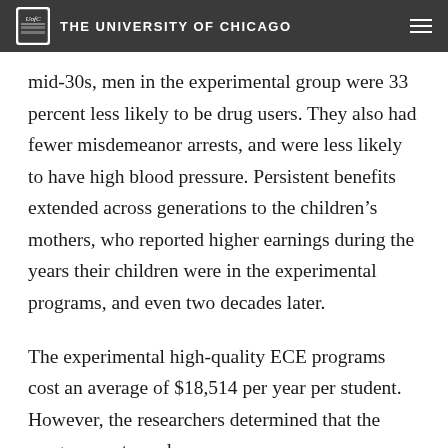THE UNIVERSITY OF CHICAGO
mid-30s, men in the experimental group were 33 percent less likely to be drug users. They also had fewer misdemeanor arrests, and were less likely to have high blood pressure. Persistent benefits extended across generations to the children's mothers, who reported higher earnings during the years their children were in the experimental programs, and even two decades later.
The experimental high-quality ECE programs cost an average of $18,514 per year per student. However, the researchers determined that the programs returned an